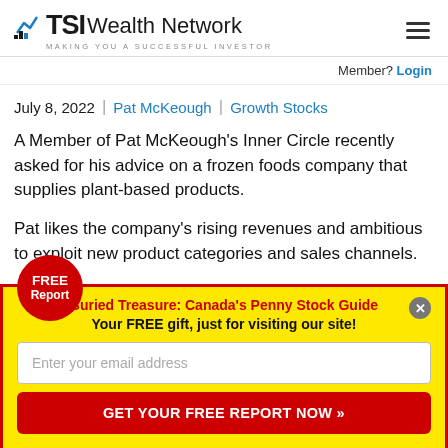TSI Wealth Network — MAKING YOU A SUCCESSFUL INVESTOR
Member? Login
July 8, 2022 | Pat McKeough | Growth Stocks
A Member of Pat McKeough's Inner Circle recently asked for his advice on a frozen foods company that supplies plant-based products.
Pat likes the company's rising revenues and ambitious plans to exploit new product categories and sales channels.
[Figure (infographic): FREE Report promotional popup with yellow background and red border. Contains red badge 'FREE Report', title 'Buried Treasure: Canada's Penny Stock Guide', subtitle 'Your FREE gift, just for visiting our site!', email input field, and red CTA button 'GET YOUR FREE REPORT NOW »']